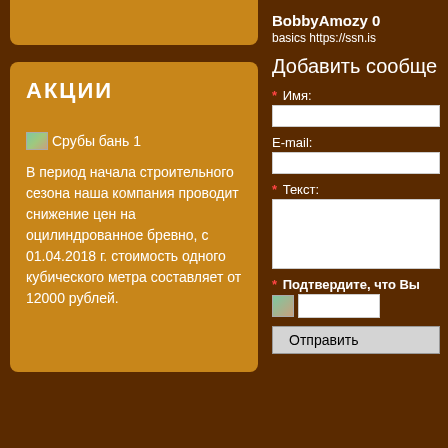BobbyAmozy  0
basics https://ssn.is
АКЦИИ
🖼 Срубы бань 1
В период начала строительного сезона наша компания проводит снижение цен на оцилиндрованное бревно, с 01.04.2018 г. стоимость одного кубического метра составляет от 12000 рублей.
Добавить сообще
* Имя:
E-mail:
* Текст:
* Подтвердите, что Вы
Отправить